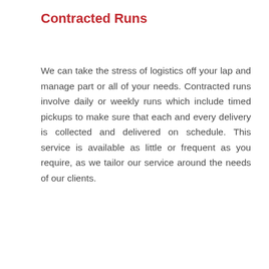Contracted Runs
We can take the stress of logistics off your lap and manage part or all of your needs. Contracted runs involve daily or weekly runs which include timed pickups to make sure that each and every delivery is collected and delivered on schedule. This service is available as little or frequent as you require, as we tailor our service around the needs of our clients.